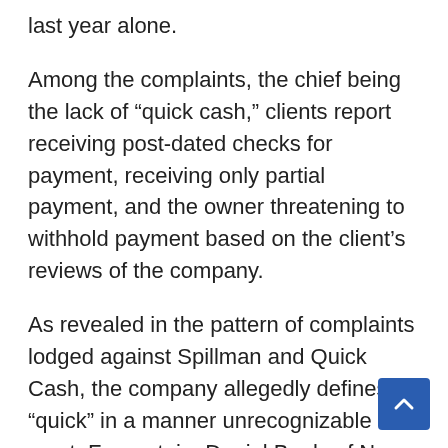last year alone.
Among the complaints, the chief being the lack of “quick cash,” clients report receiving post-dated checks for payment, receiving only partial payment, and the owner threatening to withhold payment based on the client’s reviews of the company.
As revealed in the pattern of complaints lodged against Spillman and Quick Cash, the company allegedly defines “quick” in a manner unrecognizable to most. For certain, Daniel Beals of New York doesn’t see the “quickness” in the company’s payouts for products. Month after month, Beal said he waited for payment for test strips sent to Spillman’s company, but